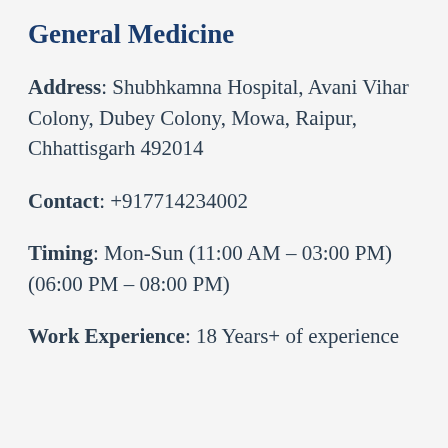General Medicine
Address: Shubhkamna Hospital, Avani Vihar Colony, Dubey Colony, Mowa, Raipur, Chhattisgarh 492014
Contact: +917714234002
Timing: Mon-Sun (11:00 AM – 03:00 PM) (06:00 PM – 08:00 PM)
Work Experience: 18 Years+ of experience